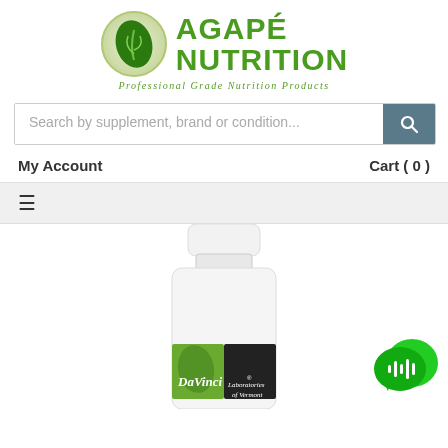[Figure (logo): Agape Nutrition logo with green leaf icon and text 'AGAPÉ NUTRITION - Professional Grade Nutrition Products']
[Figure (screenshot): Search bar with placeholder text 'Search by supplement, brand or condition...' and a dark teal search button with magnifying glass icon]
My Account
Cart ( 0 )
[Figure (screenshot): Hamburger menu icon (three horizontal lines) on a light gray background bar]
[Figure (photo): Product photo showing a DaVinci Laboratories of Vermont supplement bottle, white with green and black label, partially cropped]
[Figure (logo): Green chat bubble / voice assistant icon in bottom right corner]